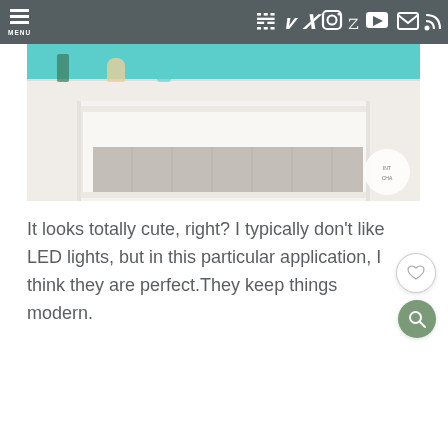MENU (navigation bar with social icons: Pinterest, Facebook, Instagram, Twitter, YouTube, Email, RSS)
[Figure (photo): A white ornate fireplace mantel with subway tile surround, decorated with flowers and vases on the mantelshelf, set against a teal/turquoise wall. A circular label is partially visible at the lower right.]
It looks totally cute, right? I typically don't like LED lights, but in this particular application, I think they are perfect.They keep things modern.